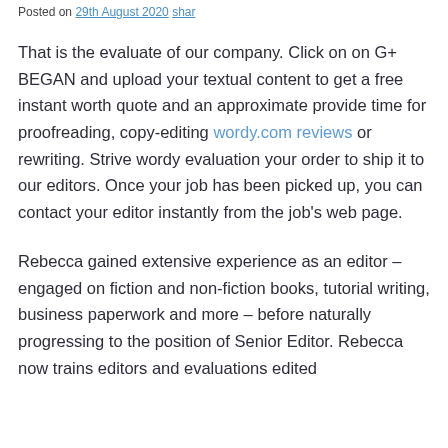Posted on 29th August 2020 shar
That is the evaluate of our company. Click on on G+ BEGAN and upload your textual content to get a free instant worth quote and an approximate provide time for proofreading, copy-editing wordy.com reviews or rewriting. Strive wordy evaluation your order to ship it to our editors. Once your job has been picked up, you can contact your editor instantly from the job’s web page.
Rebecca gained extensive experience as an editor – engaged on fiction and non-fiction books, tutorial writing, business paperwork and more – before naturally progressing to the position of Senior Editor. Rebecca now trains editors and evaluations edited